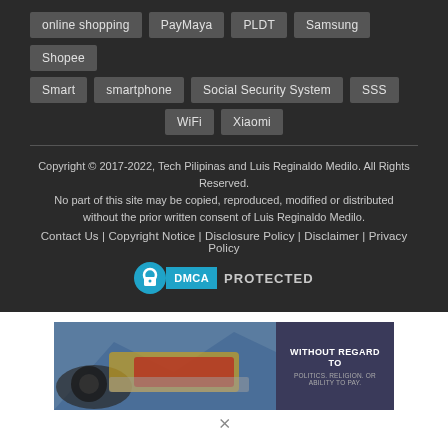online shopping
PayMaya
PLDT
Samsung
Shopee
Smart
smartphone
Social Security System
SSS
WiFi
Xiaomi
Copyright © 2017-2022, Tech Pilipinas and Luis Reginaldo Medilo. All Rights Reserved.
No part of this site may be copied, reproduced, modified or distributed without the prior written consent of Luis Reginaldo Medilo.
Contact Us | Copyright Notice | Disclosure Policy | Disclaimer | Privacy Policy
[Figure (logo): DMCA Protected badge with blue circular lock icon and DMCA label]
[Figure (photo): Advertisement banner showing an airplane being loaded with cargo, with text WITHOUT REGARD TO on the right side]